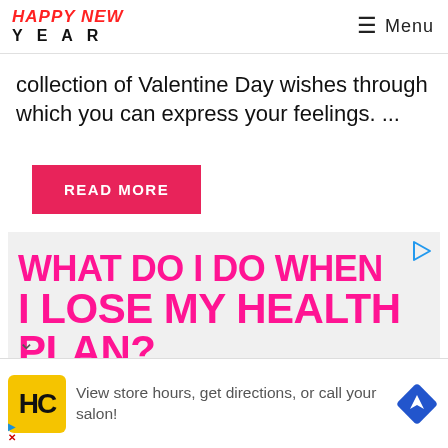HAPPY NEW YEAR | Menu
collection of Valentine Day wishes through which you can express your feelings. ...
READ MORE
[Figure (infographic): Advertisement banner with text: WHAT DO I DO WHEN I LOSE MY HEALTH PLAN? in hot pink bold letters on light gray background, with a play/ad icon in the top right corner and a chevron down arrow at bottom left.]
[Figure (infographic): Bottom advertisement bar with HC logo in yellow square, text 'View store hours, get directions, or call your salon!' and a blue navigation/directions diamond icon on the right. Small play and X icons at bottom left.]